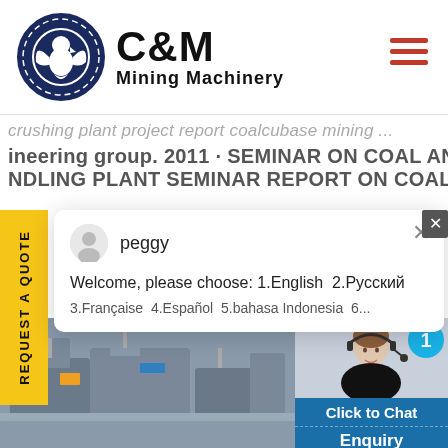[Figure (logo): C&M Mining Machinery logo with eagle/gear icon on left and bold text 'C&M Mining Machinery' on right]
crushing plant project report coalcubase mining engineering group. 2011 · SEMINAR ON COAL AND ASH NDLING PLANT SEMINAR REPORT ON COAL AND
[Figure (screenshot): Chat popup window with avatar named 'peggy', message 'Welcome, please choose: 1.English 2.Русский 3.Française 4.Español 5.bahasa Indonesia 6...' and a close button]
[Figure (photo): Industrial mining machinery / crushing plant interior photo in grayscale]
[Figure (photo): Customer service representative woman wearing headset with teal badge showing '1', 'Click to Chat' button and 'Enquiry' label below]